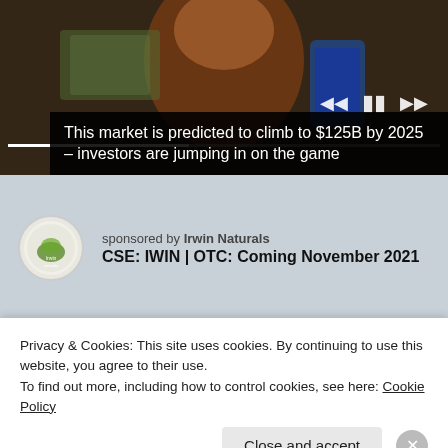[Figure (screenshot): Video player screenshot showing a woman with red hair holding cash and a phone, with playback controls and progress bar]
This market is predicted to climb to $125B by 2025 – investors are jumping in on the game
sponsored by Irwin Naturals
CSE: IWIN | OTC: Coming November 2021
Privacy & Cookies: This site uses cookies. By continuing to use this website, you agree to their use.
To find out more, including how to control cookies, see here: Cookie Policy
Close and accept